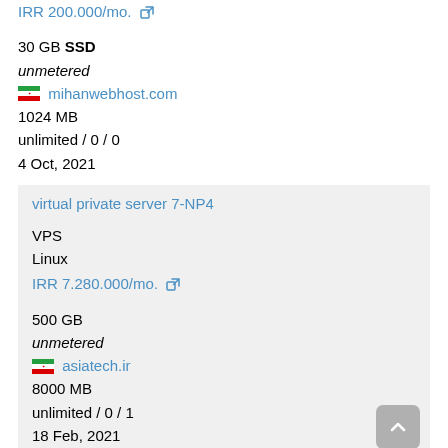IRR 200.000/mo. [external link]
30 GB SSD
unmetered
mihanwebhost.com
1024 MB
unlimited / 0 / 0
4 Oct, 2021
virtual private server 7-NP4
VPS
Linux
IRR 7.280.000/mo. [external link]

500 GB
unmetered
asiatech.ir
8000 MB
unlimited / 0 / 1
18 Feb, 2021
Revenda 5